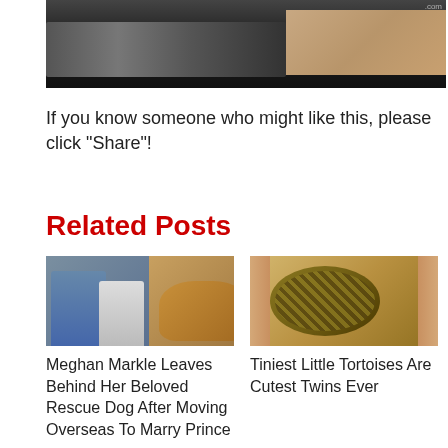[Figure (photo): Partial image of what appears to be a keyboard and a wrist/hand with a watch, dark background, with '.com' watermark visible in top right]
If you know someone who might like this, please click "Share"!
Related Posts
[Figure (photo): Composite image showing a couple (resembling Prince Harry and Meghan Markle) on the left side and a woman with a dog on the right side]
Meghan Markle Leaves Behind Her Beloved Rescue Dog After Moving Overseas To Marry Prince
[Figure (photo): Close-up photo of two tiny tortoise twins being held by human hands]
Tiniest Little Tortoises Are Cutest Twins Ever